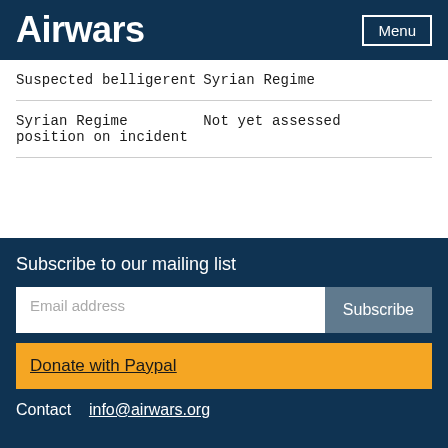Airwars
| Suspected belligerent | Syrian Regime |
| Syrian Regime position on incident | Not yet assessed |
Subscribe to our mailing list
Email address
Subscribe
Donate with Paypal
Contact   info@airwars.org